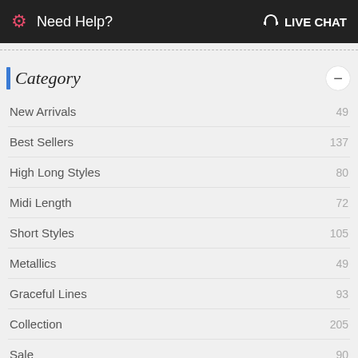Need Help? LIVE CHAT
Category
New Arrivals 49
Best Sellers 137
High Long Styles 80
Midi Length 72
Short Styles 105
Metallics 49
Graceful Lines 93
Collection 205
Sale 90
Fringe Dress 27
Price